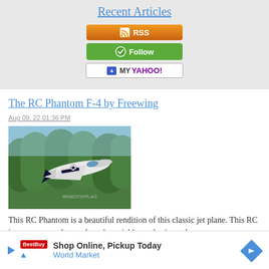Recent Articles
[Figure (other): RSS subscribe button - orange gradient button with RSS icon and text RSS]
[Figure (other): Follow button - green button with icon and text Follow]
[Figure (other): My Yahoo button - white button with blue plus icon and My Yahoo! text]
The RC Phantom F-4 by Freewing
Aug 09, 22 01:36 PM
[Figure (photo): Photo of an RC Phantom F-4 jet plane (MARINES livery) flying in front of green trees]
This RC Phantom is a beautiful rendition of this classic jet plane. This RC jet comes complete and can be quickly made airworthy
Read More
[Figure (other): Advertisement banner: Shop Online, Pickup Today - World Market with directional arrow logo]